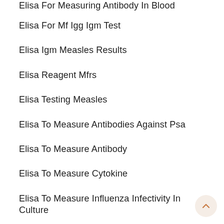Elisa For Measuring Antibody In Blood
Elisa For Mf Igg Igm Test
Elisa Igm Measles Results
Elisa Reagent Mfrs
Elisa Testing Measles
Elisa To Measure Antibodies Against Psa
Elisa To Measure Antibody
Elisa To Measure Cytokine
Elisa To Measure Influenza Infectivity In Culture
Epo Elisa Methods
Estradiol Assay Manufacturers